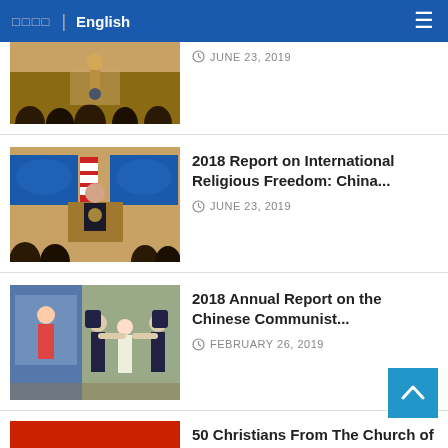□□□□ | English
[Figure (photo): Partial view of a press conference scene, partial article row at top]
JUNE 23, 2019
[Figure (photo): US State Department press conference with official at podium in front of world map screens and US flag]
2018 Report on International Religious Freedom: China...
JUNE 23, 2019
[Figure (photo): Scene showing police officers grabbing a person, depicting persecution]
2018 Annual Report on the Chinese Communist...
FEBRUARY 26, 2019
[Figure (photo): Red background with dark silhouettes, partial view]
50 Christians From The Church of Almighty God...